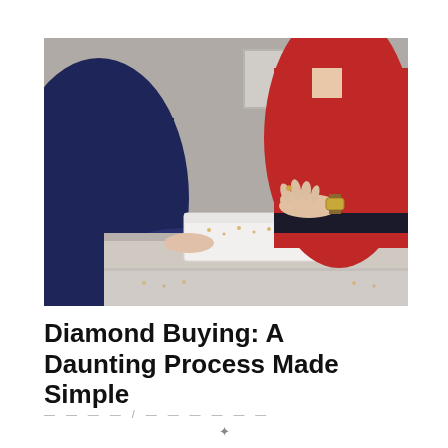[Figure (photo): A jewelry store scene showing a person in a dark navy sweater and a woman in a red jacket examining jewelry from a white display box on a glass counter.]
Diamond Buying: A Daunting Process Made Simple
— — — — / — — — — — — —